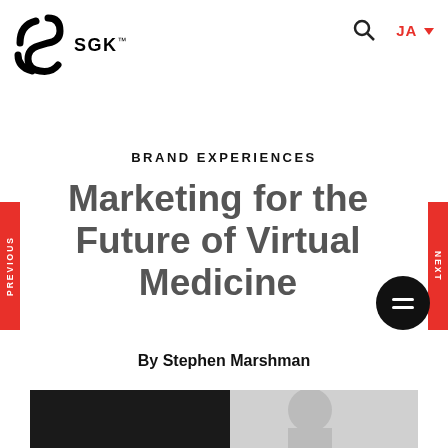[Figure (logo): SGK brand logo with stylized S icon and SGK text with trademark symbol]
BRAND EXPERIENCES
Marketing for the Future of Virtual Medicine
By Stephen Marshman
[Figure (photo): Headshot photo of a bald man against dark background]